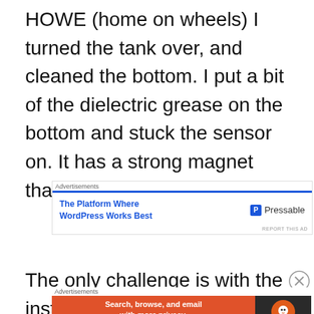HOWE (home on wheels) I turned the tank over, and cleaned the bottom. I put a bit of the dielectric grease on the bottom and stuck the sensor on. It has a strong magnet that holds the sensor on.
[Figure (other): Advertisement banner for Pressable WordPress hosting: 'The Platform Where WordPress Works Best' with Pressable logo]
The only challenge is with the install of
[Figure (other): Advertisement banner for DuckDuckGo: 'Search, browse, and email with more privacy. All in One Free App' with DuckDuckGo logo]